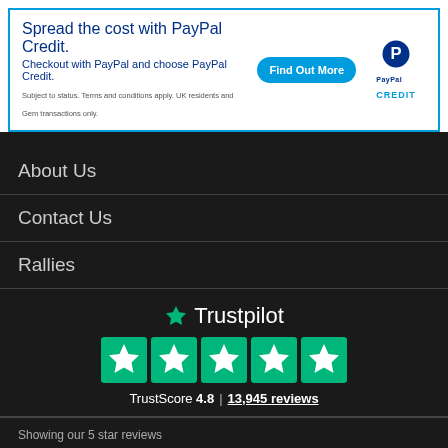[Figure (infographic): PayPal Credit banner advertisement with blue border. Text: 'Spread the cost with PayPal Credit.' and 'Checkout with PayPal and choose PayPal Credit.' with Find Out More button and PayPal Credit logo.]
About Us
Contact Us
Rallies
[Figure (logo): Trustpilot logo with green star icon and white text 'Trustpilot', five green star rating squares below, and TrustScore 4.8 | 13,945 reviews]
Showing our 5 star reviews
It was a professional service leading ✓
It was a professional service leading to a very fast delivery to New Zealand, 4